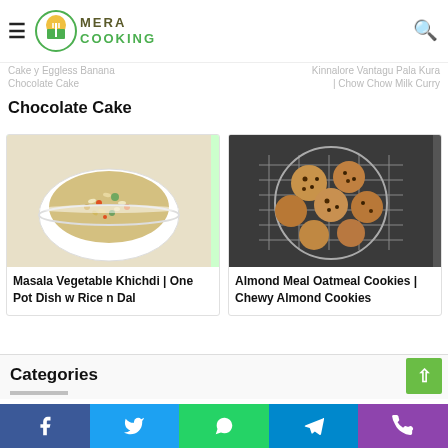Mera Cooking
Chocolate Cake
[Figure (photo): Bowl of Masala Vegetable Khichdi with rice, lentils, and vegetables]
Masala Vegetable Khichdi | One Pot Dish w Rice n Dal
[Figure (photo): Almond Meal Oatmeal Cookies arranged on a cooling rack]
Almond Meal Oatmeal Cookies | Chewy Almond Cookies
Categories